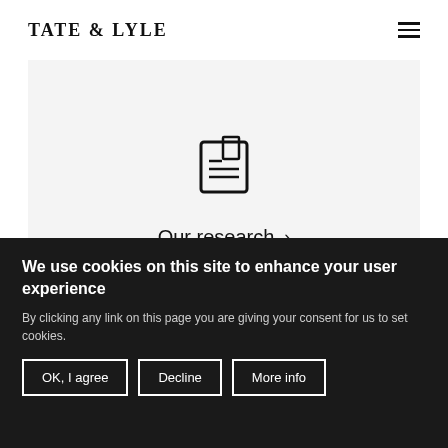[Figure (logo): Tate & Lyle logo in bold serif/sans-serif uppercase lettering]
[Figure (illustration): Book/document icon with bookmark tab]
Our research >
[Figure (illustration): Light bulb icon with rays]
We use cookies on this site to enhance your user experience
By clicking any link on this page you are giving your consent for us to set cookies.
OK, I agree
Decline
More info